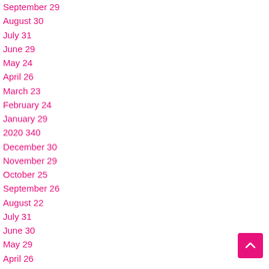September 29
August 30
July 31
June 29
May 24
April 26
March 23
February 24
January 29
2020 340
December 30
November 29
October 25
September 26
August 22
July 31
June 30
May 29
April 26
March 31
February 29
January 32
2019 195
December 30
November 27
October 30
September 27
August 28
July 29